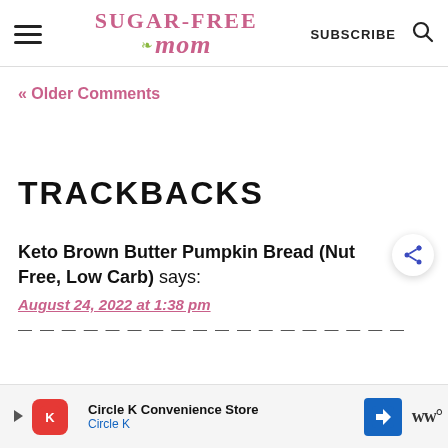Sugar-Free Mom — SUBSCRIBE [search icon]
« Older Comments
TRACKBACKS
Keto Brown Butter Pumpkin Bread (Nut Free, Low Carb) says:
August 24, 2022 at 1:38 pm
[truncated text line]
[Figure (other): Circle K Convenience Store advertisement bar at bottom of page with Circle K logo, navigation arrow icon, and WW logo]
[Figure (other): Share button (circular with share icon) floating on right side]